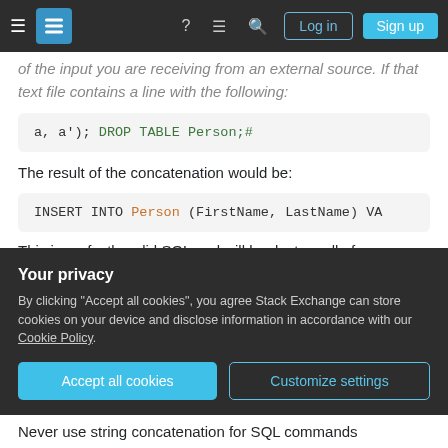Stack Exchange navigation bar with Log in and Sign up buttons
of the input you are receiving from an external source. If that text file contains a line with the following:
a, a'); DROP TABLE Person;#
The result of the concatenation would be:
INSERT INTO Person (FirstName, LastName) VA
This is perfectly valid SQL and will be destroy all of
Your privacy
By clicking "Accept all cookies", you agree Stack Exchange can store cookies on your device and disclose information in accordance with our Cookie Policy.
Never use string concatenation for SQL commands